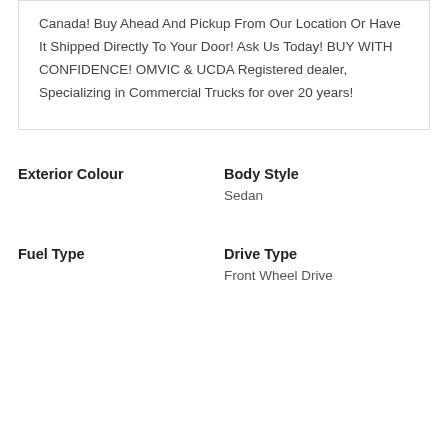Canada! Buy Ahead And Pickup From Our Location Or Have It Shipped Directly To Your Door! Ask Us Today! BUY WITH CONFIDENCE! OMVIC & UCDA Registered dealer, Specializing in Commercial Trucks for over 20 years!
Exterior Colour
Body Style
Sedan
Fuel Type
Drive Type
Front Wheel Drive